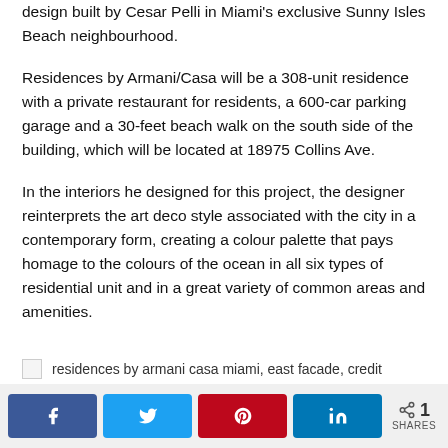design built by Cesar Pelli in Miami's exclusive Sunny Isles Beach neighbourhood.
Residences by Armani/Casa will be a 308-unit residence with a private restaurant for residents, a 600-car parking garage and a 30-feet beach walk on the south side of the building, which will be located at 18975 Collins Ave.
In the interiors he designed for this project, the designer reinterprets the art deco style associated with the city in a contemporary form, creating a colour palette that pays homage to the colours of the ocean in all six types of residential unit and in a great variety of common areas and amenities.
residences by armani casa miami, east facade, credit
Share buttons: Facebook, Twitter, Pinterest, LinkedIn | 1 SHARES